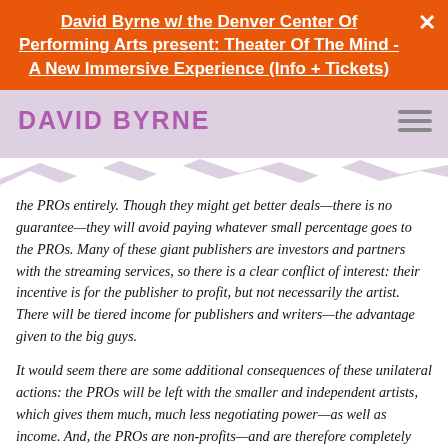David Byrne w/ the Denver Center Of Performing Arts present: Theater Of The Mind - A New Immersive Experience (Info + Tickets)
DAVID BYRNE
the PROs entirely. Though they might get better deals—there is no guarantee—they will avoid paying whatever small percentage goes to the PROs. Many of these giant publishers are investors and partners with the streaming services, so there is a clear conflict of interest: their incentive is for the publisher to profit, but not necessarily the artist. There will be tiered income for publishers and writers—the advantage given to the big guys.
It would seem there are some additional consequences of these unilateral actions: the PROs will be left with the smaller and independent artists, which gives them much, much less negotiating power—as well as income. And, the PROs are non-profits—and are therefore completely transparent: any artists can see their money flow. With the giant publishers, this transparency disappears completely—all deals and money flow are secret...which makes many of us suspicious.
So, while it seems to me that the consent decree issue regarding digital technology needs to be revised, rethought and reconsidered. Abandoning